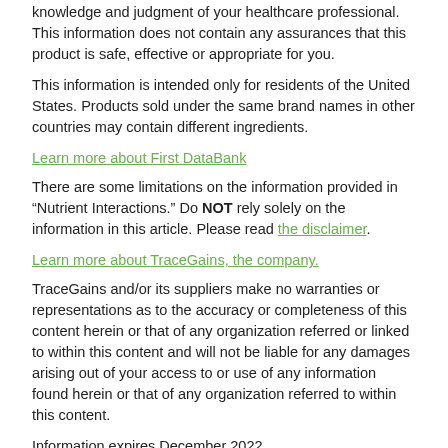knowledge and judgment of your healthcare professional. This information does not contain any assurances that this product is safe, effective or appropriate for you.
This information is intended only for residents of the United States. Products sold under the same brand names in other countries may contain different ingredients.
Learn more about First DataBank
There are some limitations on the information provided in “Nutrient Interactions.” Do NOT rely solely on the information in this article. Please read the disclaimer.
Learn more about TraceGains, the company.
TraceGains and/or its suppliers make no warranties or representations as to the accuracy or completeness of this content herein or that of any organization referred or linked to within this content and will not be liable for any damages arising out of your access to or use of any information found herein or that of any organization referred to within this content.
Information expires December 2022.
Print This Page